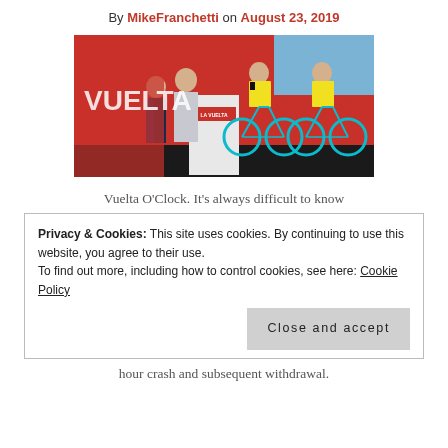By MikeFranchetti on August 23, 2019
[Figure (photo): La Vuelta cycling event presentation: two men in suits at a podium with 'LA VUELTA' branding, and two cyclists in yellow Jumbo-Visma team kits on bikes, with a red background.]
Vuelta O'Clock. It's always difficult to know
Privacy & Cookies: This site uses cookies. By continuing to use this website, you agree to their use.
To find out more, including how to control cookies, see here: Cookie Policy
Close and accept
hour crash and subsequent withdrawal.